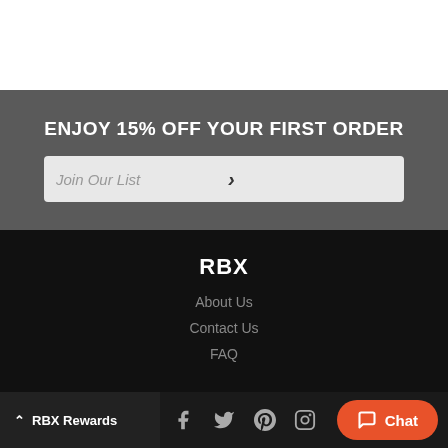ENJOY 15% OFF YOUR FIRST ORDER
Join Our List
RBX
About Us
Contact Us
FAQ
RBX Rewards | Chat